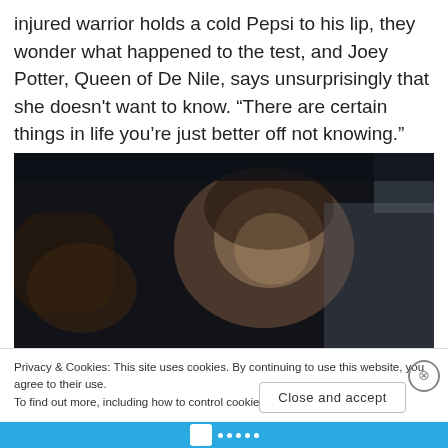injured warrior holds a cold Pepsi to his lip, they wonder what happened to the test, and Joey Potter, Queen of De Nile, says unsurprisingly that she doesn't want to know. “There are certain things in life you’re just better off not knowing.”
[Figure (photo): A dark film still showing a young woman with dark hair looking slightly to the right, smiling faintly. The background is dim and out of focus.]
Privacy & Cookies: This site uses cookies. By continuing to use this website, you agree to their use.
To find out more, including how to control cookies, see here: Cookie Policy
Close and accept